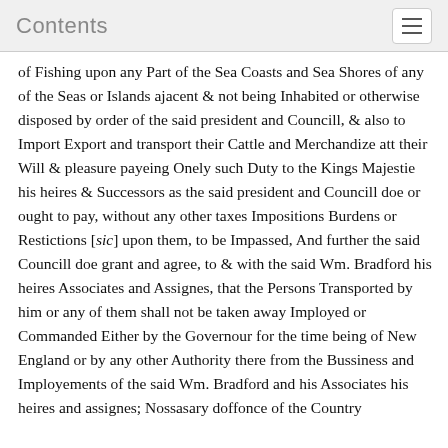Contents
of Fishing upon any Part of the Sea Coasts and Sea Shores of any of the Seas or Islands ajacent & not being Inhabited or otherwise disposed by order of the said president and Councill, & also to Import Export and transport their Cattle and Merchandize att their Will & pleasure payeing Onely such Duty to the Kings Majestie his heires & Successors as the said president and Councill doe or ought to pay, without any other taxes Impositions Burdens or Restictions [sic] upon them, to be Impassed, And further the said Councill doe grant and agree, to & with the said Wm. Bradford his heires Associates and Assignes, that the Persons Transported by him or any of them shall not be taken away Imployed or Commanded Either by the Governour for the time being of New England or by any other Authority there from the Bussiness and Imployements of the said Wm. Bradford and his Associates his heires and assignes; Nossasary doffonce of the Country